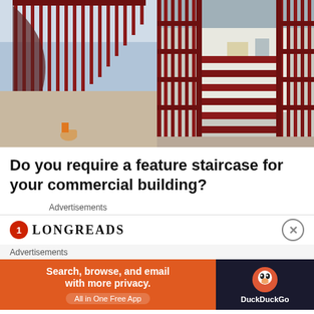[Figure (photo): Two side-by-side photos of a red metal feature staircase inside a commercial building under construction. Left photo is a top-down view of the spiral staircase with red railings. Right photo shows a side view of the red metal staircase with vertical balusters and a view of the building interior.]
Do you require a feature staircase for your commercial building?
Advertisements
[Figure (logo): Longreads logo: red circle with number 1 and LONGREADS text in bold serif lettering]
Advertisements
[Figure (infographic): DuckDuckGo advertisement banner: orange section with text 'Search, browse, and email with more privacy. All in One Free App' and dark section with DuckDuckGo duck logo and brand name]